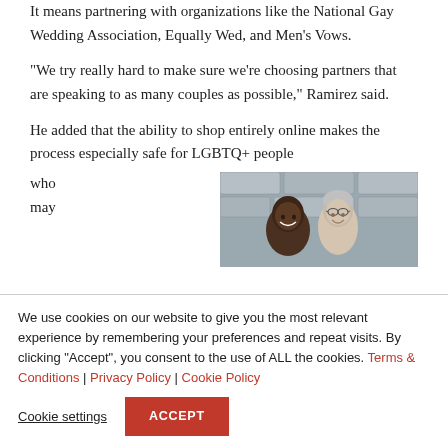It means partnering with organizations like the National Gay Wedding Association, Equally Wed, and Men's Vows.
“We try really hard to make sure we’re choosing partners that are speaking to as many couples as possible,” Ramirez said.
He added that the ability to shop entirely online makes the process especially safe for LGBTQ+ people who may
[Figure (photo): Photo of two men smiling, one Black man and one older white man with glasses, in front of a stone wall background.]
We use cookies on our website to give you the most relevant experience by remembering your preferences and repeat visits. By clicking “Accept”, you consent to the use of ALL the cookies. Terms & Conditions | Privacy Policy | Cookie Policy
Cookie settings
ACCEPT